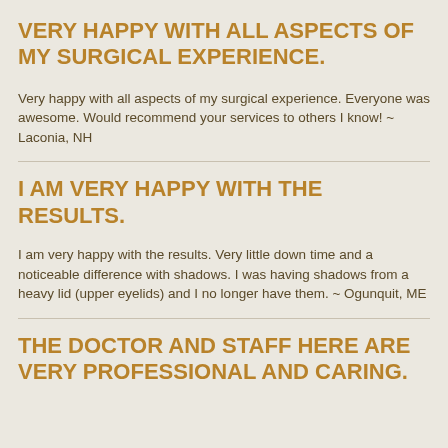VERY HAPPY WITH ALL ASPECTS OF MY SURGICAL EXPERIENCE.
Very happy with all aspects of my surgical experience. Everyone was awesome. Would recommend your services to others I know! ~ Laconia, NH
I AM VERY HAPPY WITH THE RESULTS.
I am very happy with the results. Very little down time and a noticeable difference with shadows. I was having shadows from a heavy lid (upper eyelids) and I no longer have them. ~ Ogunquit, ME
THE DOCTOR AND STAFF HERE ARE VERY PROFESSIONAL AND CARING.